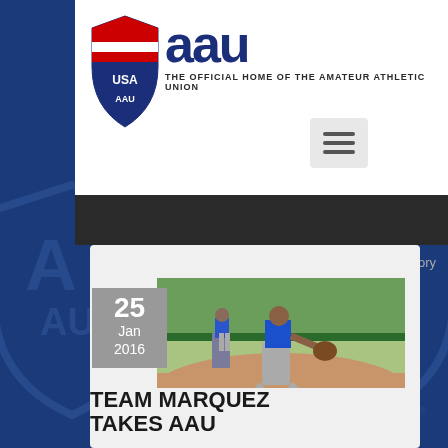[Figure (screenshot): AAU (Amateur Athletic Union) website screenshot showing a news article page. The page has the AAU logo with shield emblem and tagline 'THE OFFICIAL HOME OF THE AMATEUR ATHLETIC UNION' at the top, a dark navigation bar, and a content card with a date box showing '25 Jan 2016' and a photo of a softball/baseball pitcher in a blue uniform throwing on a dirt field. Below is the headline 'TEAM MARQUEZ TAKES AAU'. Breadcrumb navigation shows 'News → View Story'. The background shows a blue AAU branded background with shield watermarks.]